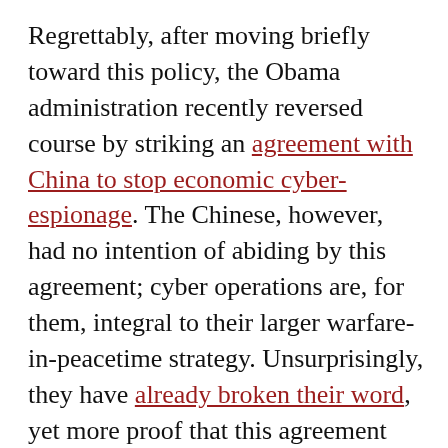Regrettably, after moving briefly toward this policy, the Obama administration recently reversed course by striking an agreement with China to stop economic cyber-espionage. The Chinese, however, had no intention of abiding by this agreement; cyber operations are, for them, integral to their larger warfare-in-peacetime strategy. Unsurprisingly, they have already broken their word, yet more proof that this agreement will do nothing to keep the United States safe in cyberspace.

To effectively deter cyber-aggression, the